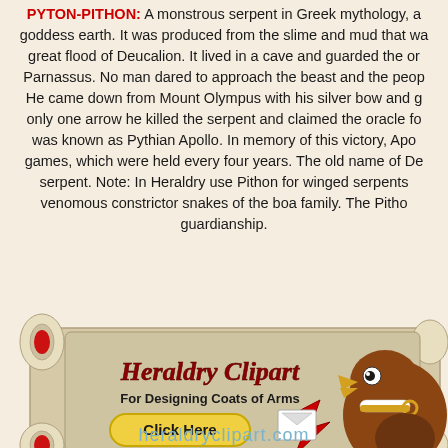PYTON-PITHON: A monstrous serpent in Greek mythology, and goddess earth. It was produced from the slime and mud that was great flood of Deucalion. It lived in a cave and guarded the or Parnassus. No man dared to approach the beast and the peop He came down from Mount Olympus with his silver bow and g only one arrow he killed the serpent and claimed the oracle fo was known as Pythian Apollo. In memory of this victory, Apo games, which were held every four years. The old name of De serpent. Note: In Heraldry use Pithon for winged serpents venomous constrictor snakes of the boa family. The Pitho guardianship.
[Figure (illustration): Heraldry Clipart banner advertisement featuring a scroll with a golden eagle/hawk mascot wearing a collar, a red arrow check mark, and a 'Click Here' yellow button. Text reads 'Heraldry Clipart For Designing Coats of Arms Click Here'.]
heraldryclipart.com